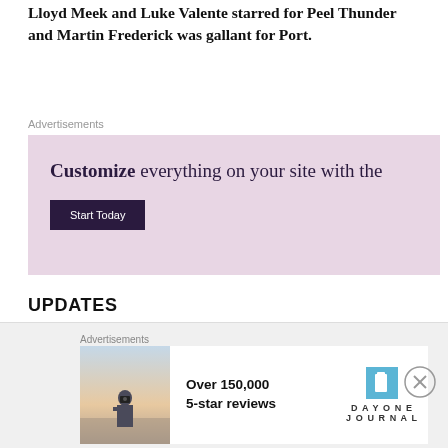Lloyd Meek and Luke Valente starred for Peel Thunder and Martin Frederick was gallant for Port.
Advertisements
[Figure (other): Advertisement banner with pink/lavender background. Text reads: 'Customize everything on your site with the' with a 'Start Today' dark button below.]
UPDATES
It was a quiet day of news with clubs respecting the Queen's Birthday MND occasion, although St Kilda confirmed Hunter Clark (AF $522k SC $330k D/M*)
Advertisements
[Figure (other): Advertisement for Day One Journal showing a person photographing a landscape, text: 'Over 150,000 5-star reviews' with Day One Journal logo.]